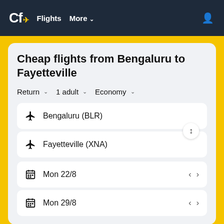Cf Flights More
Cheap flights from Bengaluru to Fayetteville
Return  1 adult  Economy
Bengaluru (BLR)
Fayetteville (XNA)
Mon 22/8
Mon 29/8